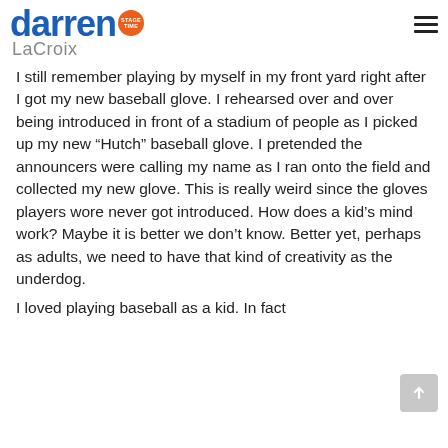darren STAGE TIME LaCroix
I still remember playing by myself in my front yard right after I got my new baseball glove. I rehearsed over and over being introduced in front of a stadium of people as I picked up my new “Hutch” baseball glove. I pretended the announcers were calling my name as I ran onto the field and collected my new glove. This is really weird since the gloves players wore never got introduced. How does a kid’s mind work? Maybe it is better we don’t know. Better yet, perhaps as adults, we need to have that kind of creativity as the underdog.
I loved playing baseball as a kid. In fact